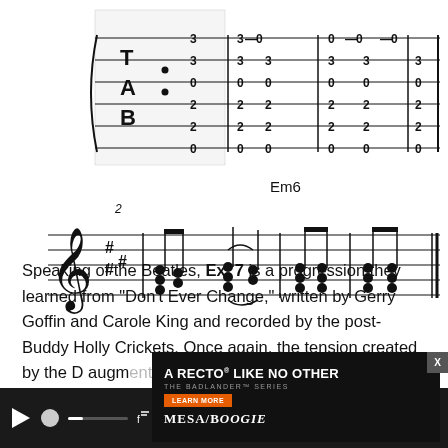[Figure (other): Guitar TAB notation showing Em6 chord pattern with numbers on six strings, repeated pattern with 3,3,0,2,2,0 and similar variations]
[Figure (other): Sheet music notation for Em6 chord progression, measure 2, with treble clef and sharp key signature, multiple notes and a tie/slur mark]
[Figure (other): Soundslice interactive music player bar with play button, progress slider, and control icons on dark background]
Speaking of the Beatles, Ex. 7 is a progression they learned from "Don't Ever Change," written by Gerry Goffin and Carole King and recorded by the post-Buddy Holly Crickets. Once again, the tension created by the D augmented... in the way up... the way, if you ... you'll find yourself playing the verse to Eddie Money's "Baby
[Figure (other): Mesa/Boogie advertisement overlay: 'A RECTO LIKE NO OTHER - THE BADLANDER SERIES' with Learn More button and image of guitar amplifier head]